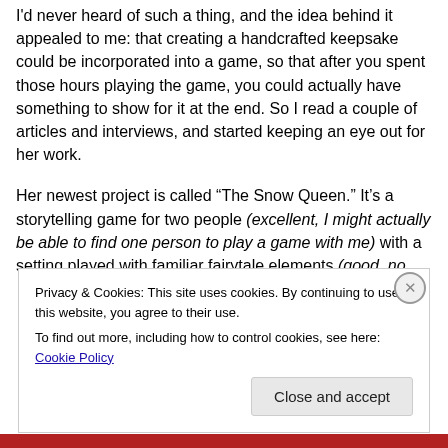I'd never heard of such a thing, and the idea behind it appealed to me: that creating a handcrafted keepsake could be incorporated into a game, so that after you spent those hours playing the game, you could actually have something to show for it at the end. So I read a couple of articles and interviews, and started keeping an eye out for her work.

Her newest project is called “The Snow Queen.” It’s a storytelling game for two people (excellent, I might actually be able to find one person to play a game with me) with a setting played with familiar fairytale elements (good, no
Privacy & Cookies: This site uses cookies. By continuing to use this website, you agree to their use.
To find out more, including how to control cookies, see here: Cookie Policy
Close and accept